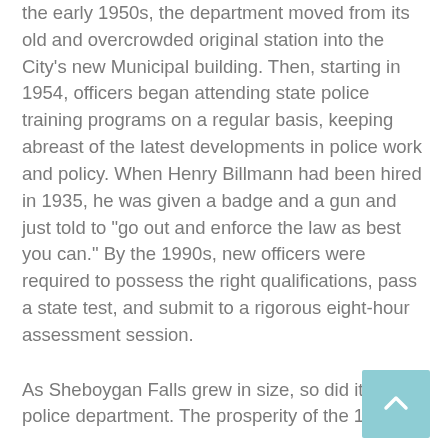the early 1950s, the department moved from its old and overcrowded original station into the City's new Municipal building. Then, starting in 1954, officers began attending state police training programs on a regular basis, keeping abreast of the latest developments in police work and policy. When Henry Billmann had been hired in 1935, he was given a badge and a gun and just told to “go out and enforce the law as best you can.” By the 1990s, new officers were required to possess the right qualifications, pass a state test, and submit to a rigorous eight-hour assessment session.
As Sheboygan Falls grew in size, so did its police department. The prosperity of the 1950s